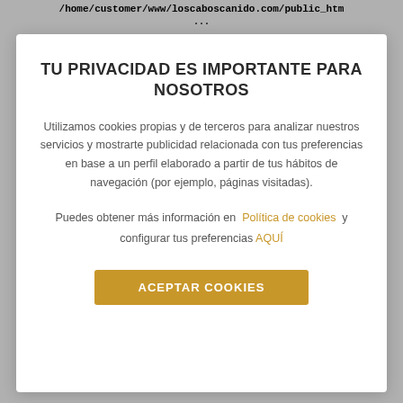/home/customer/www/loscaboscanido.com/public_htm
TU PRIVACIDAD ES IMPORTANTE PARA NOSOTROS
Utilizamos cookies propias y de terceros para analizar nuestros servicios y mostrarte publicidad relacionada con tus preferencias en base a un perfil elaborado a partir de tus hábitos de navegación (por ejemplo, páginas visitadas).
Puedes obtener más información en  Política de cookies  y configurar tus preferencias AQUÍ
ACEPTAR COOKIES